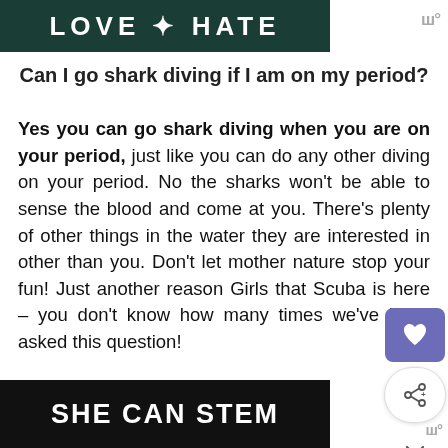[Figure (other): Dark green banner at top with partial text, likely 'LOVE HATE']
Can I go shark diving if I am on my period?
Yes you can go shark diving when you are on your period, just like you can do any other diving on your period. No the sharks won't be able to sense the blood and come at you. There's plenty of other things in the water they are interested in other than you. Don't let mother nature stop your fun! Just another reason Girls that Scuba is here - you don't know how many times we've been asked this question!
[Figure (other): Dark banner at bottom with text 'SHE CAN STEM']